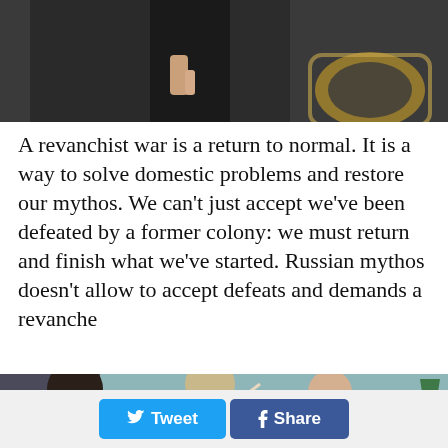[Figure (photo): Partial view of people in formal setting, top portion of image cropped]
A revanchist war is a return to normal. It is a way to solve domestic problems and restore our mythos. We can't just accept we've been defeated by a former colony: we must return and finish what we've started. Russian mythos doesn't allow to accept defeats and demands a revanche
[Figure (photo): Group of people in an indoor setting near a Christmas tree, one person smoking]
Tweet   Share